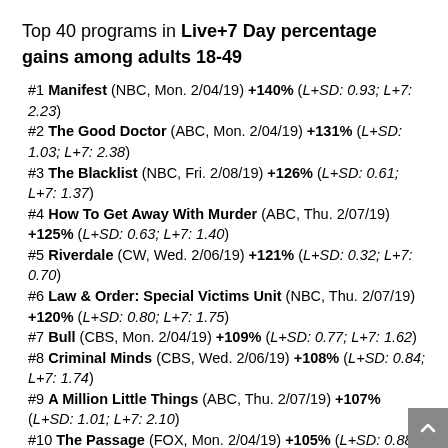Top 40 programs in Live+7 Day percentage gains among adults 18-49
#1 Manifest (NBC, Mon. 2/04/19) +140% (L+SD: 0.93; L+7: 2.23)
#2 The Good Doctor (ABC, Mon. 2/04/19) +131% (L+SD: 1.03; L+7: 2.38)
#3 The Blacklist (NBC, Fri. 2/08/19) +126% (L+SD: 0.61; L+7: 1.37)
#4 How To Get Away With Murder (ABC, Thu. 2/07/19) +125% (L+SD: 0.63; L+7: 1.40)
#5 Riverdale (CW, Wed. 2/06/19) +121% (L+SD: 0.32; L+7: 0.70)
#6 Law & Order: Special Victims Unit (NBC, Thu. 2/07/19) +120% (L+SD: 0.80; L+7: 1.75)
#7 Bull (CBS, Mon. 2/04/19) +109% (L+SD: 0.77; L+7: 1.62)
#8 Criminal Minds (CBS, Wed. 2/06/19) +108% (L+SD: 0.84; L+7: 1.74)
#9 A Million Little Things (ABC, Thu. 2/07/19) +107% (L+SD: 1.01; L+7: 2.10)
#10 The Passage (FOX, Mon. 2/04/19) +105% (L+SD: 0.88; L+7: 1.80)
#11 S.W.A.T. (CBS, Thu. 2/07/19) +102% (L+SD: 0.80; L+7: 1.63)
#12 Will & Grace (NBC, Thu. 2/07/19) +99% (L+SD: 0.77;